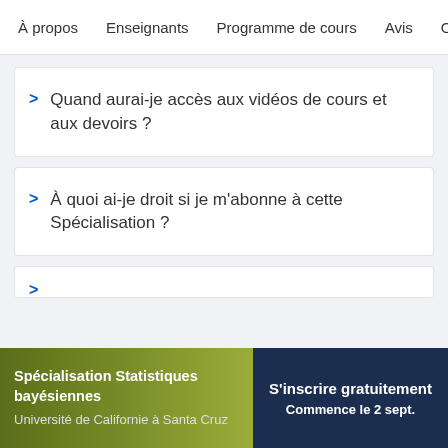À propos    Enseignants    Programme de cours    Avis    Op
Quand aurai-je accès aux vidéos de cours et aux devoirs ?
À quoi ai-je droit si je m'abonne à cette Spécialisation ?
Spécialisation Statistiques bayésiennes
Université de Californie à Santa Cruz
S'inscrire gratuitement
Commence le 2 sept.